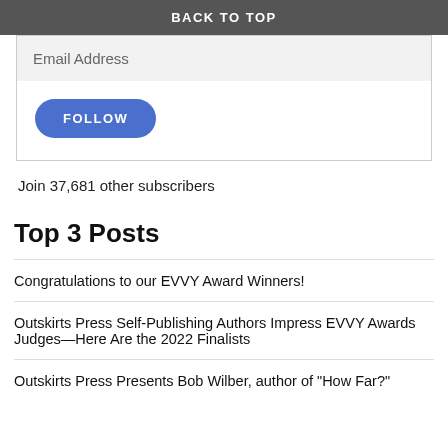BACK TO TOP
Email Address
FOLLOW
Join 37,681 other subscribers
Top 3 Posts
Congratulations to our EVVY Award Winners!
Outskirts Press Self-Publishing Authors Impress EVVY Awards Judges—Here Are the 2022 Finalists
Outskirts Press Presents Bob Wilber, author of "How Far?"